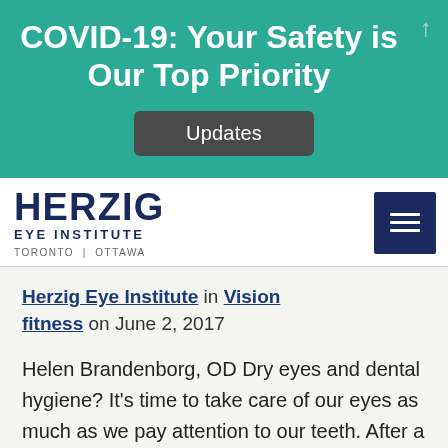COVID-19: Your Safety is Our Top Priority
[Figure (other): Updates button]
[Figure (logo): Herzig Eye Institute logo with TORONTO | OTTAWA tagline and hamburger menu button]
Herzig Eye Institute in Vision fitness on June 2, 2017
Helen Brandenborg, OD Dry eyes and dental hygiene? It's time to take care of our eyes as much as we pay attention to our teeth. After a visit to our dentist we brush and floss